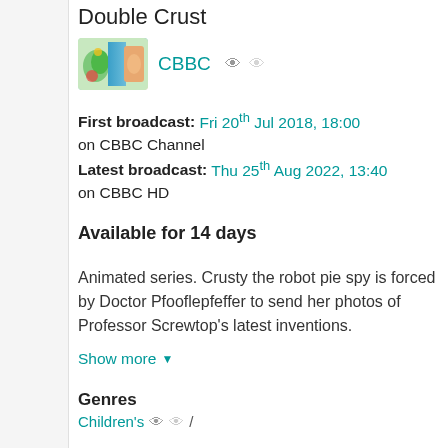Double Crust
[Figure (logo): CBBC channel thumbnail logo with colorful abstract design]
CBBC
First broadcast: Fri 20th Jul 2018, 18:00 on CBBC Channel
Latest broadcast: Thu 25th Aug 2022, 13:40 on CBBC HD
Available for 14 days
Animated series. Crusty the robot pie spy is forced by Doctor Pfooflepfeffer to send her photos of Professor Screwtop's latest inventions.
Show more
Genres
Children's /